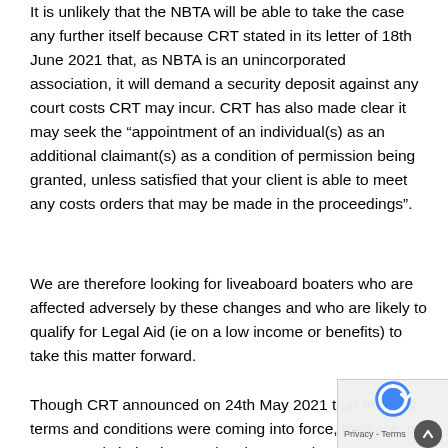It is unlikely that the NBTA will be able to take the case any further itself because CRT stated in its letter of 18th June 2021 that, as NBTA is an unincorporated association, it will demand a security deposit against any court costs CRT may incur. CRT has also made clear it may seek the “appointment of an individual(s) as an additional claimant(s) as a condition of permission being granted, unless satisfied that your client is able to meet any costs orders that may be made in the proceedings”.
We are therefore looking for liveaboard boaters who are affected adversely by these changes and who are likely to qualify for Legal Aid (ie on a low income or benefits) to take this matter forward.
Though CRT announced on 24th May 2021 that the new terms and conditions were coming into force, they are, of course, only being imposed on boaters who their Boat Licence comes up for renewal. Please p us on our Travellers Advice Line which is 0121 685